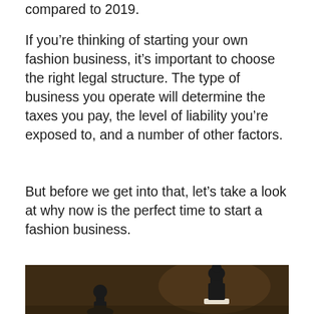compared to 2019.
If you’re thinking of starting your own fashion business, it’s important to choose the right legal structure. The type of business you operate will determine the taxes you pay, the level of liability you’re exposed to, and a number of other factors.
But before we get into that, let’s take a look at why now is the perfect time to start a fashion business.
[Figure (photo): Dark background with black chess pieces (pawns/pieces) on a surface, partially cropped at bottom of page]